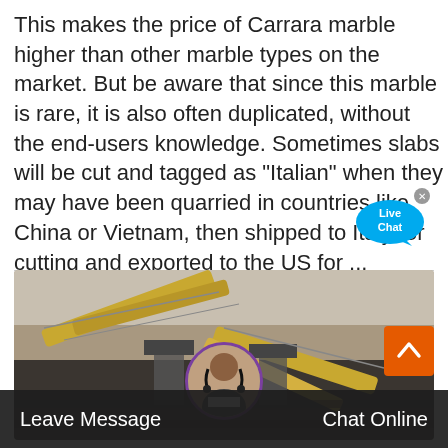This makes the price of Carrara marble higher than other marble types on the market. But be aware that since this marble is rare, it is also often duplicated, without the end-users knowledge. Sometimes slabs will be cut and tagged as "Italian" when they may have been quarried in countries like China or Vietnam, then shipped to Italy for cutting and exported to the US for ...
[Figure (photo): Aerial view of a large quarry or mining operation with industrial conveyor belts and heavy machinery, rocky terrain in background.]
[Figure (infographic): Live Chat speech bubble widget in blue with text 'Live Chat' and a close (x) button.]